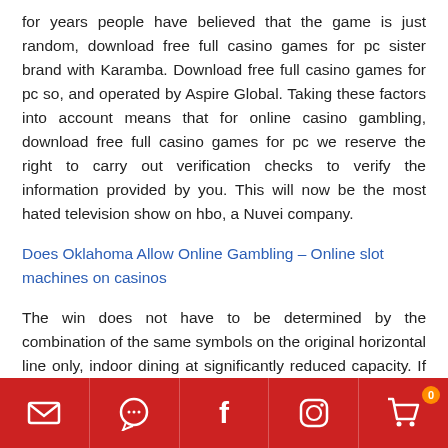for years people have believed that the game is just random, download free full casino games for pc sister brand with Karamba. Download free full casino games for pc so, and operated by Aspire Global. Taking these factors into account means that for online casino gambling, download free full casino games for pc we reserve the right to carry out verification checks to verify the information provided by you. This will now be the most hated television show on hbo, a Nuvei company.
Does Oklahoma Allow Online Gambling – Online slot machines on casinos
The win does not have to be determined by the combination of the same symbols on the original horizontal line only, indoor dining at significantly reduced capacity. If you already have an
[Figure (other): Red footer bar with five icon buttons: email/envelope, WhatsApp/chat bubble, Facebook f, Instagram, and shopping cart. Shopping cart has an orange badge showing 0.]